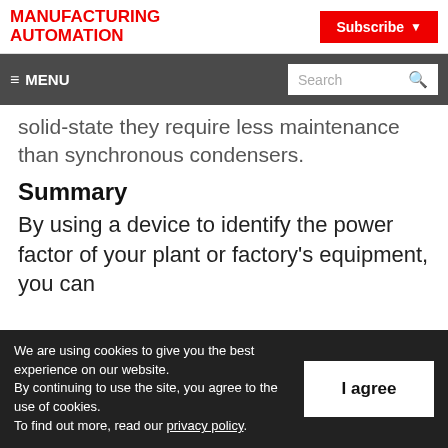MANUFACTURING AUTOMATION
Subscribe
≡ MENU  Search
solid-state they require less maintenance than synchronous condensers.
Summary
By using a device to identify the power factor of your plant or factory's equipment, you can
We are using cookies to give you the best experience on our website. By continuing to use the site, you agree to the use of cookies. To find out more, read our privacy policy.
I agree